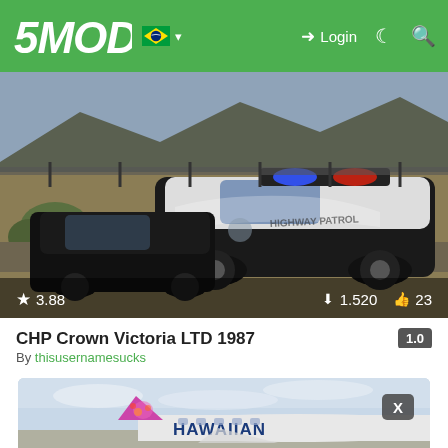5MODS — Login
[Figure (screenshot): GTA V mod screenshot of a CHP (California Highway Patrol) black and white Crown Victoria police car from 1987, parked in a desert landscape with blue/red light bar visible. Overlay shows: star rating 3.88, 1.520 downloads, 23 likes.]
CHP Crown Victoria LTD 1987
By thisusernamesucks
[Figure (screenshot): GTA V mod screenshot showing the tail section of a Hawaiian Airlines aircraft with the distinctive pink/purple tail livery featuring a hula dancer silhouette and the text HAWAIIAN visible on the fuselage.]